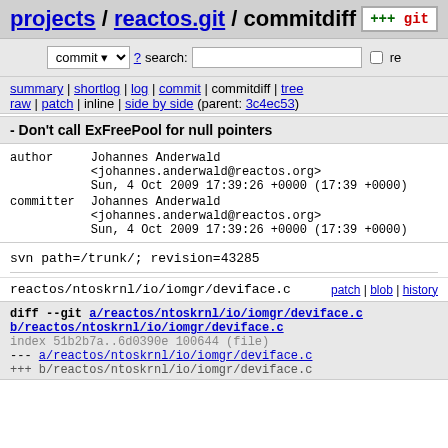projects / reactos.git / commitdiff
commit ▾ ? search:  □ re
summary | shortlog | log | commit | commitdiff | tree
raw | patch | inline | side by side (parent: 3c4ec53)
- Don't call ExFreePool for null pointers
| author | Johannes Anderwald
<johannes.anderwald@reactos.org>
Sun, 4 Oct 2009 17:39:26 +0000 (17:39 +0000) |
| committer | Johannes Anderwald
<johannes.anderwald@reactos.org>
Sun, 4 Oct 2009 17:39:26 +0000 (17:39 +0000) |
svn path=/trunk/; revision=43285
reactos/ntoskrnl/io/iomgr/deviface.c    patch | blob | history
diff --git a/reactos/ntoskrnl/io/iomgr/deviface.c b/reactos/ntoskrnl/io/iomgr/deviface.c
index 51b2b7a..6d0390e 100644 (file)
--- a/reactos/ntoskrnl/io/iomgr/deviface.c
+++ b/reactos/ntoskrnl/io/iomgr/deviface.c